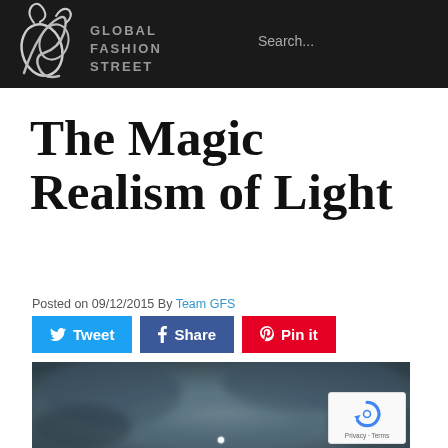GLOBAL FASHION STREET
The Magic Realism of Light
Posted on 09/12/2015 By Team GFS
[Figure (screenshot): Three social sharing buttons: Tweet (blue), Share (dark blue), Pin it (red)]
[Figure (photo): A blurred dark atmospheric photo with a small bright light spot in the lower center, teal and grey tones suggesting a moody outdoor or abstract scene]